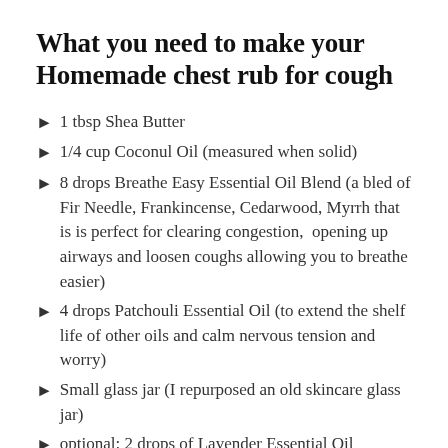What you need to make your Homemade chest rub for cough
1 tbsp Shea Butter
1/4 cup Coconul Oil (measured when solid)
8 drops Breathe Easy Essential Oil Blend (a bled of Fir Needle, Frankincense, Cedarwood, Myrrh that is is perfect for clearing congestion,  opening up airways and loosen coughs allowing you to breathe easier)
4 drops Patchouli Essential Oil (to extend the shelf life of other oils and calm nervous tension and worry)
Small glass jar (I repurposed an old skincare glass jar)
optional: 2 drops of Lavender Essential Oil